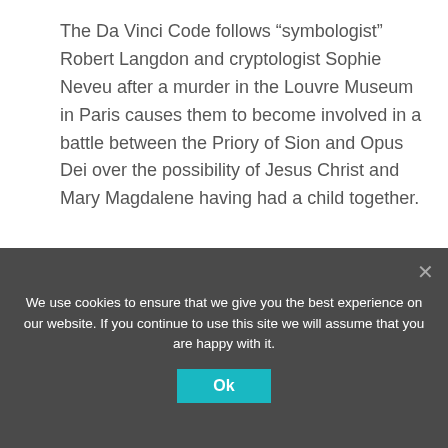The Da Vinci Code follows “symbologist” Robert Langdon and cryptologist Sophie Neveu after a murder in the Louvre Museum in Paris causes them to become involved in a battle between the Priory of Sion and Opus Dei over the possibility of Jesus Christ and Mary Magdalene having had a child together.
[Figure (infographic): Pro-Papers homework help advertisement banner with teal background, '15% OFF' discount badge in orange circle, and ORDER button on teal background.]
What is the Holy Grail in Da Vinci Code?
In “The Da Vinci Code” the holy Grail refers to an earthshaking secret—that Mary Magdalene bore a child with Jesus. The mega-bestselling book — the film…
We use cookies to ensure that we give you the best experience on our website. If you continue to use this site we will assume that you are happy with it.